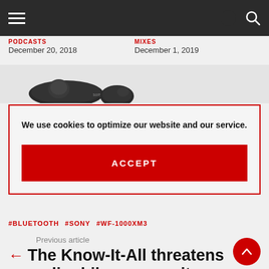Navigation bar with hamburger menu, moon/dark-mode icon, and search icon
December 20, 2018
December 1, 2019
[Figure (photo): Two dark Sony wireless earbuds (WF-1000XM3) shown from above]
We use cookies to optimize our website and our service.
ACCEPT
#BLUETOOTH  #SONY  #WF-1000XM3
Previous article
The Know-It-All threatens audiophile community